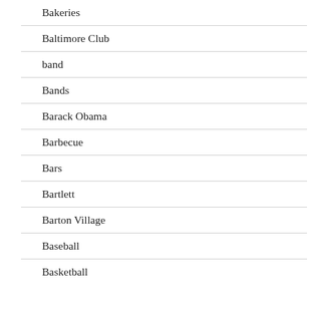Bakeries
Baltimore Club
band
Bands
Barack Obama
Barbecue
Bars
Bartlett
Barton Village
Baseball
Basketball